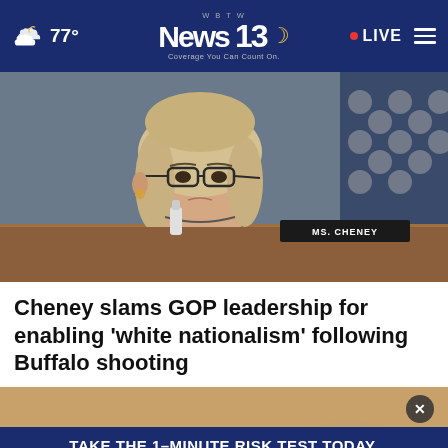🌙 77° | WBTW News 13 - Coverage You Can Count On. | • LIVE
[Figure (photo): A woman with blonde hair and dark-rimmed glasses sits at a congressional hearing desk. She has a serious expression. A name placard and American flag are visible in the background.]
Cheney slams GOP leadership for enabling 'white nationalism' following Buffalo shooting
[Figure (infographic): Advertisement banner reading 'TAKE THE 1-MINUTE RISK TEST TODAY.' with DolHavePrediabetes.org URL and logos for Ad Council, AMA, and CDC. Close button visible.]